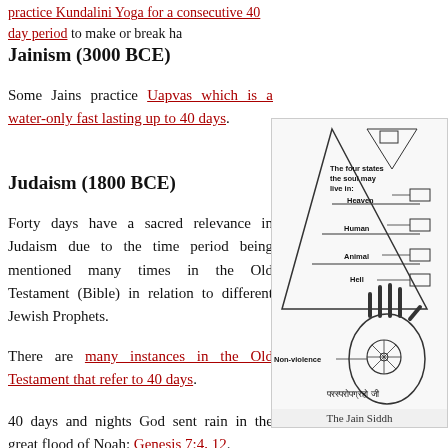practice Kundalini Yoga for a consecutive 40 day period to make or break ha
Jainism (3000 BCE)
Some Jains practice Uapvas which is a water-only fast lasting up to 40 days.
Judaism (1800 BCE)
Forty days have a sacred relevance in Judaism due to the time period being mentioned many times in the Old Testament (Bible) in relation to different Jewish Prophets.
There are many instances in the Old Testament that refer to 40 days.
40 days and nights God sent rain in the great flood of Noah: Genesis 7:4, 12.
Forty days after sighting the tops of the mountains, Noah set forth a raven a
Joseph mourned the death of his father Jacob for a period of 40 days: Genesi
Moses spent 40 days on Mount Sinai with God
[Figure (illustration): Jain diagram showing the four states the soul may live in: Heaven, Human, Animal, Hell, with a hand showing Non-violence symbol and Sanskrit text at bottom. Caption: The Jain Siddh]